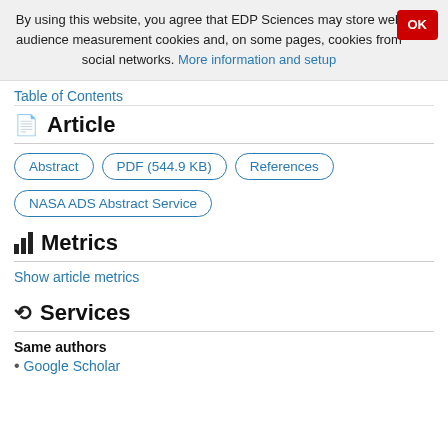By using this website, you agree that EDP Sciences may store web audience measurement cookies and, on some pages, cookies from social networks. More information and setup
Table of Contents
Article
Abstract
PDF (544.9 KB)
References
NASA ADS Abstract Service
Metrics
Show article metrics
Services
Same authors
Google Scholar